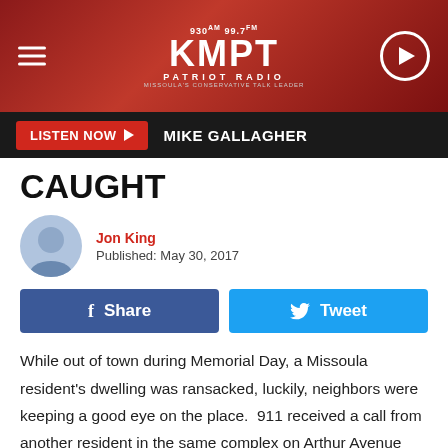930AM 99.7FM KMPT PATRIOT RADIO
LISTEN NOW  MIKE GALLAGHER
CAUGHT
Jon King
Published: May 30, 2017
Share  Tweet
While out of town during Memorial Day, a Missoula resident's dwelling was ransacked, luckily, neighbors were keeping a good eye on the place.  911 received a call from another resident in the same complex on Arthur Avenue who reported that they had seen 38-year-old Brian Lubick enter the dwelling. Missoula Police Public Information Officer Travis Welsh says police found more evidence to back up that